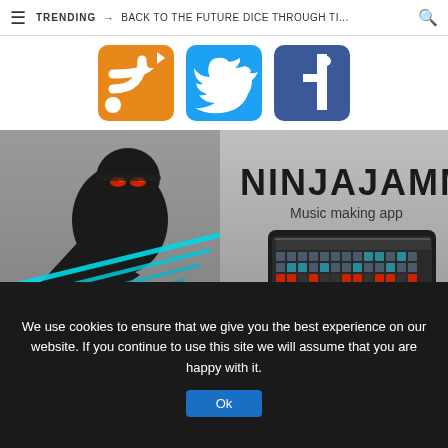≡  TRENDING → BACK TO THE FUTURE DICE THROUGH TI... 🔍
[Figure (illustration): Three social media icon buttons: RSS/Feedly (orange), Twitter (blue), Facebook (dark blue)]
[Figure (screenshot): NINJAJAMM Music making app promotional image featuring a ninja character with red eyes and cyan slash marks, alongside screenshots of the app interface on a smartphone showing a sequencer/beat pad grid with red and cyan buttons]
We use cookies to ensure that we give you the best experience on our website. If you continue to use this site we will assume that you are happy with it.
Ok